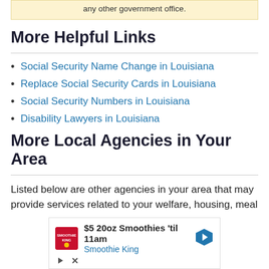any other government office.
More Helpful Links
Social Security Name Change in Louisiana
Replace Social Security Cards in Louisiana
Social Security Numbers in Louisiana
Disability Lawyers in Louisiana
More Local Agencies in Your Area
Listed below are other agencies in your area that may provide services related to your welfare, housing, meal
[Figure (other): Advertisement for Smoothie King: $5 20oz Smoothies 'til 11am with Smoothie King logo and navigation arrow icon]